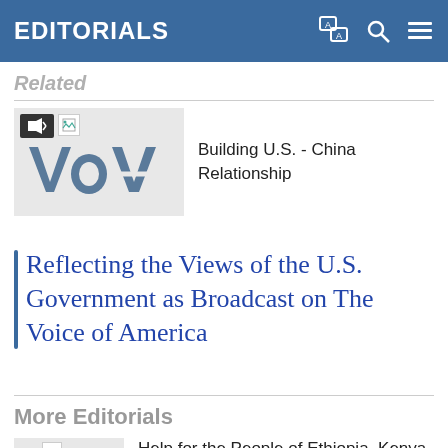EDITORIALS
Related
[Figure (logo): VOA Voice of America logo thumbnail with audio icon]
Building U.S. - China Relationship
| Reflecting the Views of the U.S. Government as Broadcast on The Voice of America
More Editorials
[Figure (logo): VOA logo thumbnail partial]
Help for the People of Ethiopia, Kenya, and Somalia